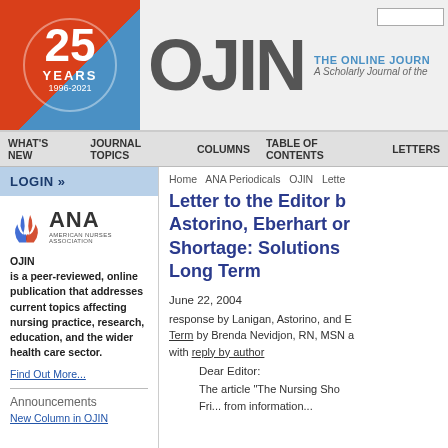[Figure (logo): OJIN journal header with 25 Years 1996-2021 logo and ANA branding]
WHAT'S NEW   JOURNAL TOPICS   COLUMNS   TABLE OF CONTENTS   LETTERS
LOGIN »
[Figure (logo): ANA American Nurses Association logo with flame icon]
OJIN is a peer-reviewed, online publication that addresses current topics affecting nursing practice, research, education, and the wider health care sector.
Find Out More...
Announcements
New Column in OJIN
Home   ANA Periodicals   OJIN   Lette
Letter to the Editor by Astorino, Eberhart on Shortage: Solutions for Long Term
June 22, 2004
response by Lanigan, Astorino, and E... Term by Brenda Nevidjon, RN, MSN ... with reply by author
Dear Editor:
The article "The Nursing Sho...